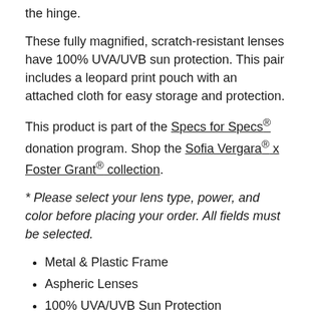the hinge.
These fully magnified, scratch-resistant lenses have 100% UVA/UVB sun protection. This pair includes a leopard print pouch with an attached cloth for easy storage and protection.
This product is part of the Specs for Specs® donation program. Shop the Sofia Vergara® x Foster Grant® collection.
* Please select your lens type, power, and color before placing your order. All fields must be selected.
Metal & Plastic Frame
Aspheric Lenses
100% UVA/UVB Sun Protection
Scratch-Resistant Lenses